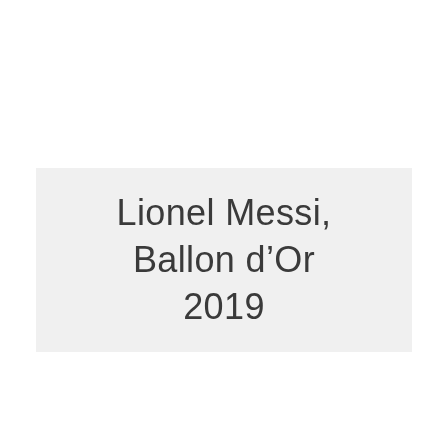Lionel Messi, Ballon d’Or 2019